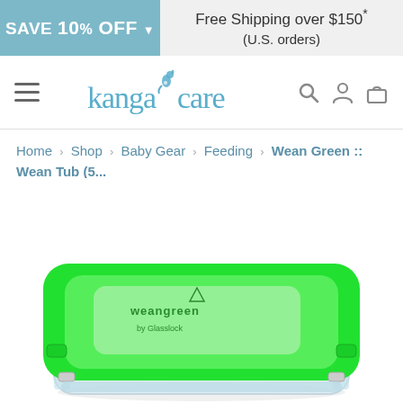SAVE 10% OFF ▾    Free Shipping over $150* (U.S. orders)
[Figure (logo): Kanga Care logo with kangaroo icon]
Home › Shop › Baby Gear › Feeding › Wean Green :: Wean Tub (5...
[Figure (photo): Green glass food storage container with bright green lid labeled 'Wean Green by Glasslock', viewed from above at an angle]